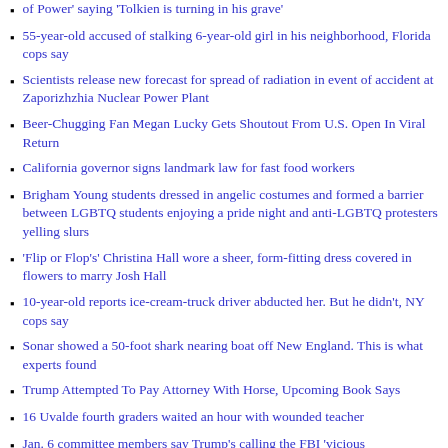of Power' saying 'Tolkien is turning in his grave'
55-year-old accused of stalking 6-year-old girl in his neighborhood, Florida cops say
Scientists release new forecast for spread of radiation in event of accident at Zaporizhzhia Nuclear Power Plant
Beer-Chugging Fan Megan Lucky Gets Shoutout From U.S. Open In Viral Return
California governor signs landmark law for fast food workers
Brigham Young students dressed in angelic costumes and formed a barrier between LGBTQ students enjoying a pride night and anti-LGBTQ protesters yelling slurs
'Flip or Flop's' Christina Hall wore a sheer, form-fitting dress covered in flowers to marry Josh Hall
10-year-old reports ice-cream-truck driver abducted her. But he didn't, NY cops say
Sonar showed a 50-foot shark nearing boat off New England. This is what experts found
Trump Attempted To Pay Attorney With Horse, Upcoming Book Says
16 Uvalde fourth graders waited an hour with wounded teacher
Jan. 6 committee members say Trump's calling the FBI 'vicious'